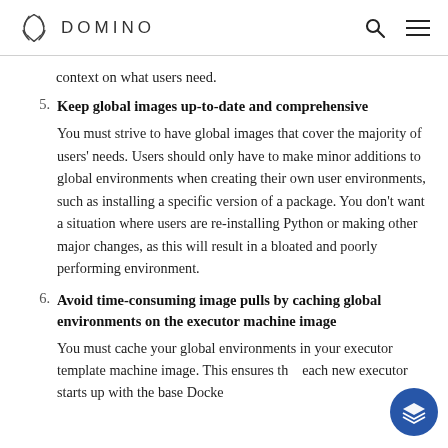DOMINO
context on what users need.
5. Keep global images up-to-date and comprehensive
You must strive to have global images that cover the majority of users' needs. Users should only have to make minor additions to global environments when creating their own user environments, such as installing a specific version of a package. You don't want a situation where users are re-installing Python or making other major changes, as this will result in a bloated and poorly performing environment.
6. Avoid time-consuming image pulls by caching global environments on the executor machine image
You must cache your global environments in your executor template machine image. This ensures that each new executor starts up with the base Docker